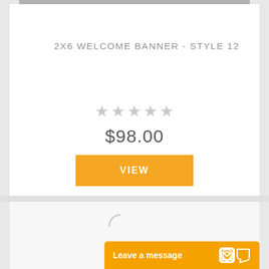2X6 WELCOME BANNER - STYLE 12
$98.00
VIEW
Leave a message